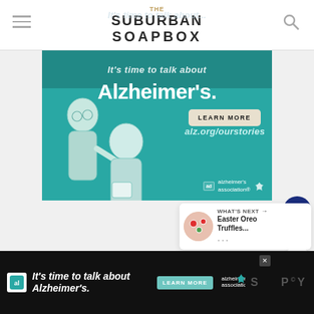THE SUBURBAN SOAPBOX
[Figure (illustration): Alzheimer's Association advertisement banner. Teal background with two illustrated elderly figures. Text: It's time to talk about Alzheimer's. LEARN MORE button. alz.org/ourstories. Alzheimer's association logo with 'ad' badge.]
1
WHAT'S NEXT → Easter Oreo Truffles...
[Figure (illustration): Bottom banner advertisement: It's time to talk about Alzheimer's. LEARN MORE button. Alzheimer's association logo. Close button X. Site name partially visible.]